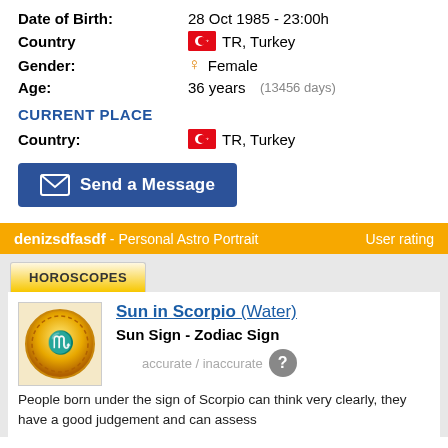Date of Birth: 28 Oct 1985 - 23:00h
Country TR, Turkey
Gender: Female
Age: 36 years (13456 days)
CURRENT PLACE
Country: TR, Turkey
Send a Message
denizsdfasdf - Personal Astro Portrait  User rating
HOROSCOPES
[Figure (illustration): Scorpio zodiac sign symbol golden circular emblem]
Sun in Scorpio (Water)
Sun Sign - Zodiac Sign
accurate / inaccurate
People born under the sign of Scorpio can think very clearly, they have a good judgement and can assess